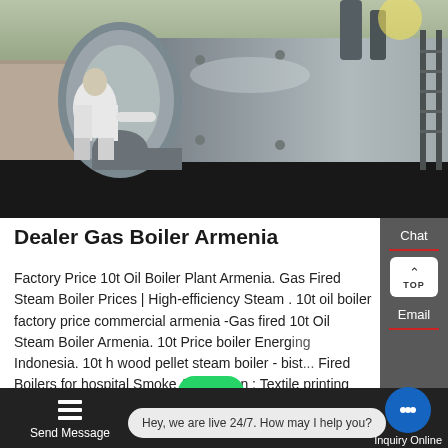[Figure (photo): A worker in white clothing servicing or inspecting a large industrial gas/oil boiler unit outdoors, shot in dark/dusk lighting. The cylindrical boiler is silver/metallic.]
Dealer Gas Boiler Armenia
Factory Price 10t Oil Boiler Plant Armenia. Gas Fired Steam Boiler Prices | High-efficiency Steam . 10t oil boiler factory price commercial armenia -Gas fired 10t Oil Steam Boiler Armenia. 10t Price boiler Energy saving Indonesia. 10t h wood pellet steam boiler - bist... Fired Boilers for hospital Smoke Application : Textile printing and dyeing ... tic and rubber
[Figure (infographic): WhatsApp icon button (green rounded square with white phone handset) overlaid on page content]
Contact us now!
Hey, we are live 24/7. How may I help you?
Send Message
Inquiry Online